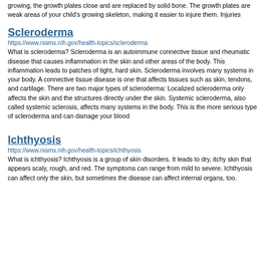growing, the growth plates close and are replaced by solid bone. The growth plates are weak areas of your child's growing skeleton, making it easier to injure them. Injuries
Scleroderma
https://www.niams.nih.gov/health-topics/scleroderma
What is scleroderma? Scleroderma is an autoimmune connective tissue and rheumatic disease that causes inflammation in the skin and other areas of the body. This inflammation leads to patches of tight, hard skin. Scleroderma involves many systems in your body. A connective tissue disease is one that affects tissues such as skin, tendons, and cartilage. There are two major types of scleroderma: Localized scleroderma only affects the skin and the structures directly under the skin. Systemic scleroderma, also called systemic sclerosis, affects many systems in the body. This is the more serious type of scleroderma and can damage your blood
Ichthyosis
https://www.niams.nih.gov/health-topics/ichthyosis
What is ichthyosis? Ichthyosis is a group of skin disorders. It leads to dry, itchy skin that appears scaly, rough, and red. The symptoms can range from mild to severe. Ichthyosis can affect only the skin, but sometimes the disease can affect internal organs, too.